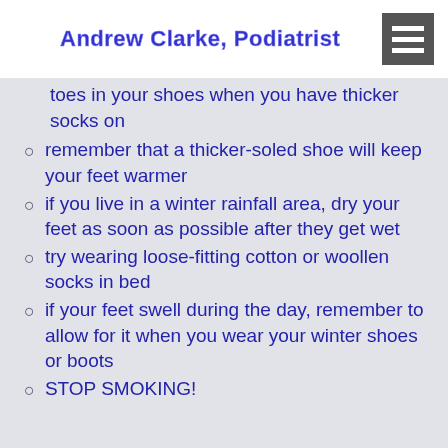Andrew Clarke, Podiatrist
toes in your shoes when you have thicker socks on
remember that a thicker-soled shoe will keep your feet warmer
if you live in a winter rainfall area, dry your feet as soon as possible after they get wet
try wearing loose-fitting cotton or woollen socks in bed
if your feet swell during the day, remember to allow for it when you wear your winter shoes or boots
STOP SMOKING!